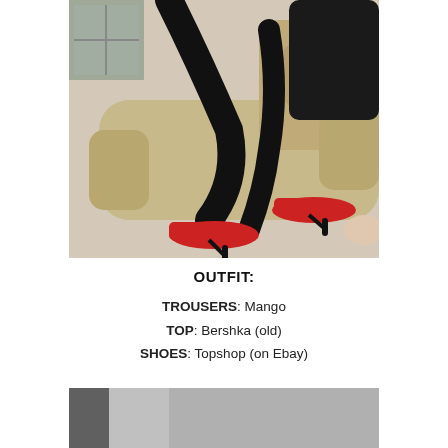[Figure (photo): Person sitting on a beige armchair wearing black trousers, black top, and red high-heeled shoes. The feet and legs are prominently shown with the red shoes visible.]
OUTFIT:
TROUSERS: Mango
TOP: Bershka (old)
SHOES: Topshop (on Ebay)
[Figure (photo): Partial view of another photo below, showing a grey/silver background, cropped at the bottom of the page.]